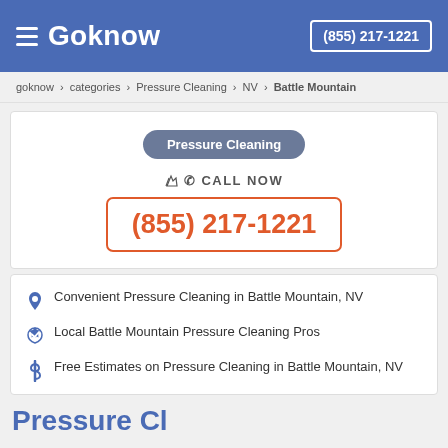Goknow (855) 217-1221
goknow > categories > Pressure Cleaning > NV > Battle Mountain
Pressure Cleaning
CALL NOW (855) 217-1221
Convenient Pressure Cleaning in Battle Mountain, NV
Local Battle Mountain Pressure Cleaning Pros
Free Estimates on Pressure Cleaning in Battle Mountain, NV
Pressure Cl...